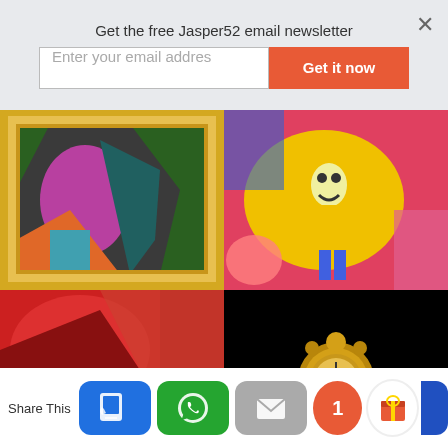Get the free Jasper52 email newsletter
Enter your email addres
Get it now
[Figure (photo): Abstract colorful painting in a frame with purple, green, black, red and teal colors]
[Figure (photo): Cartoon illustration with a yellow figure character on a colorful background]
[Figure (photo): Abstract red and dark colorful painting]
[Figure (photo): Ornate golden antique mantel clock on black background]
Share This
1